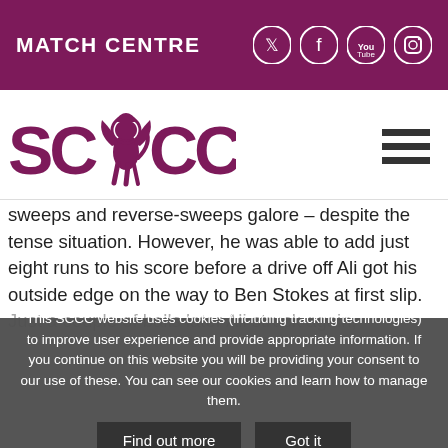MATCH CENTRE
[Figure (logo): SCCC logo with lion crest between SC and CC text in maroon]
sweeps and reverse-sweeps galore – despite the tense situation. However, he was able to add just eight runs to his score before a drive off Ali got his outside edge on the way to Ben Stokes at first slip.
Just a couple of balls later Ali struck again, producing a
This SCCC website uses cookies (including tracking technologies) to improve user experience and provide appropriate information. If you continue on this website you will be providing your consent to our use of these. You can see our cookies and learn how to manage them.
Find out more   Got it